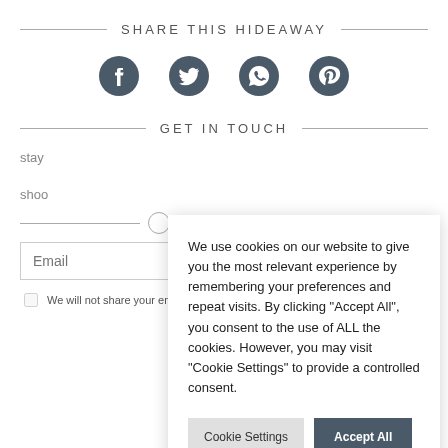SHARE THIS HIDEAWAY
[Figure (infographic): Four social media icons in a row: Facebook, Twitter, WhatsApp, Pinterest]
GET IN TOUCH
stay
shoo
Email
We will not share your email address with anyone.
We use cookies on our website to give you the most relevant experience by remembering your preferences and repeat visits. By clicking "Accept All", you consent to the use of ALL the cookies. However, you may visit "Cookie Settings" to provide a controlled consent.
Cookie Settings
Accept All
See our